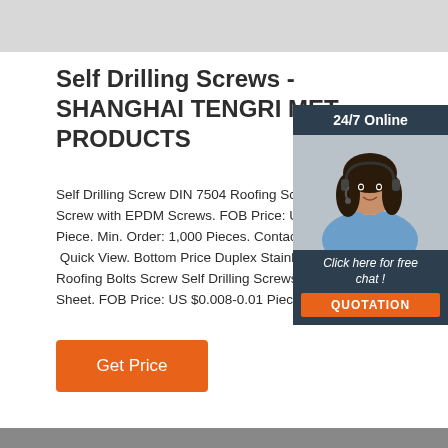[Figure (photo): Gray bar at top of page, partial image area]
Self Drilling Screws - SHANGHAI TENGRI METAL PRODUCTS
Self Drilling Screw DIN 7504 Roofing Screw Screw with EPDM Screws. FOB Price: US $0. Piece. Min. Order: 1,000 Pieces. Contact No. Quick View. Bottom Price Duplex Stainless S Roofing Bolts Screw Self Drilling Screws for Sheet. FOB Price: US $0.008-0.01 Piece.
[Figure (photo): Chat widget with woman wearing headset, 24/7 Online label, Click here for free chat text, and QUOTATION button]
Get Price